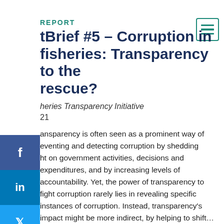REPORT
tBrief #5 – Corruption in fisheries: Transparency to the rescue?
Fisheries Transparency Initiative
21
Transparency is often seen as a prominent way of preventing and detecting corruption by shedding light on government activities, decisions and expenditures, and by increasing levels of accountability. Yet, the power of transparency to fight corruption rarely lies in revealing specific instances of corruption. Instead, transparency's impact might be more indirect, by helping to shift…